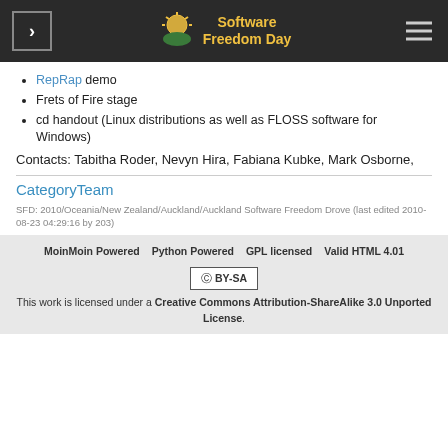Software Freedom Day
RepRap demo
Frets of Fire stage
cd handout (Linux distributions as well as FLOSS software for Windows)
Contacts: Tabitha Roder, Nevyn Hira, Fabiana Kubke, Mark Osborne,
CategoryTeam
SFD: 2010/Oceania/New Zealand/Auckland/Auckland Software Freedom Drove (last edited 2010-08-23 04:29:16 by 203)
MoinMoin Powered   Python Powered   GPL licensed   Valid HTML 4.01
[Figure (logo): Creative Commons BY-SA badge]
This work is licensed under a Creative Commons Attribution-ShareAlike 3.0 Unported License.